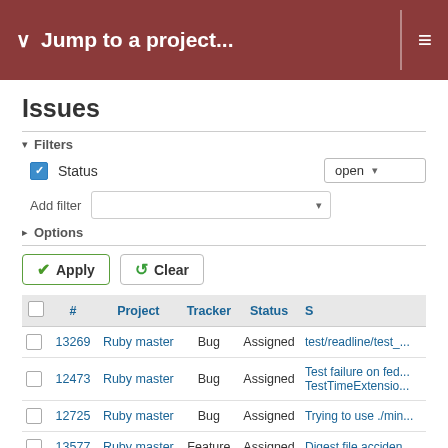Jump to a project...
Issues
Filters
Status  open
Add filter
Options
Apply   Clear
|  | # | Project | Tracker | Status | S |
| --- | --- | --- | --- | --- | --- |
|  | 13269 | Ruby master | Bug | Assigned | test/readline/test_... |
|  | 12473 | Ruby master | Bug | Assigned | Test failure on fed... TestTimeExtensio... |
|  | 12725 | Ruby master | Bug | Assigned | Trying to use ./min... |
|  | 13577 | Ruby master | Feature | Assigned | Digest.file acciden... |